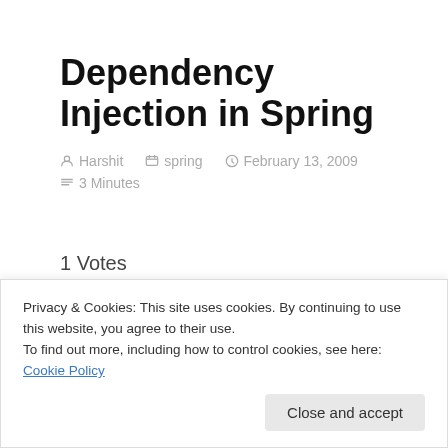Dependency Injection in Spring
Harshit   spring   February 13, 2009
3 Minutes
1 Votes
Dependency Injection (DI): is a way to let the framework or the container
Privacy & Cookies: This site uses cookies. By continuing to use this website, you agree to their use.
To find out more, including how to control cookies, see here: Cookie Policy
Close and accept